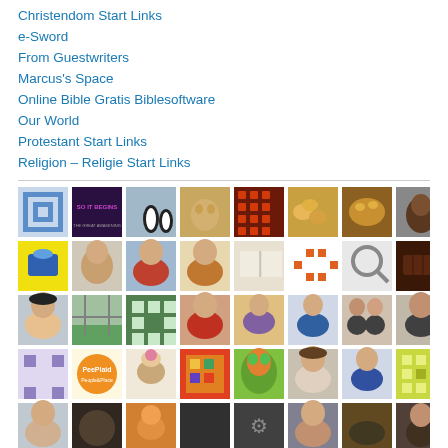Christendom Start Links
e-Sword
From Guestwriters
Marcus's Space
Online Bible Gratis Biblesoftware
Our World
Protestant Start Links
Religion – Religie Start Links
[Figure (photo): Grid of approximately 40 small avatar/profile thumbnail images of people, patterns, food, animals, and icons arranged in a 8-column grid]